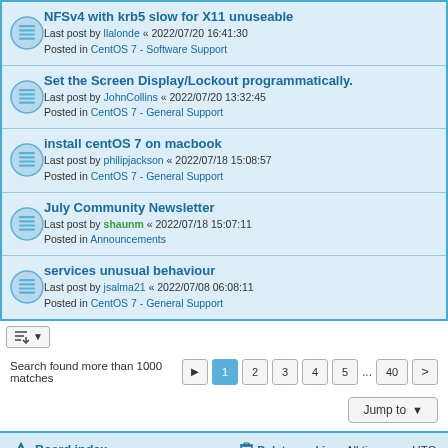NFSv4 with krb5 slow for X11 unuseable
Last post by llalonde « 2022/07/20 16:41:30
Posted in CentOS 7 - Software Support
Set the Screen Display/Lockout programmatically.
Last post by JohnCollins « 2022/07/20 13:32:45
Posted in CentOS 7 - General Support
install centOS 7 on macbook
Last post by philipjackson « 2022/07/18 15:08:57
Posted in CentOS 7 - General Support
July Community Newsletter
Last post by shaunm « 2022/07/18 15:07:11
Posted in Announcements
services unusual behaviour
Last post by jsalma21 « 2022/07/08 06:08:11
Posted in CentOS 7 - General Support
Search found more than 1000 matches
Jump to
Board index   Delete cookies   All times are UTC
Powered by phpBB® Forum Software © phpBB Limited
Privacy | Terms